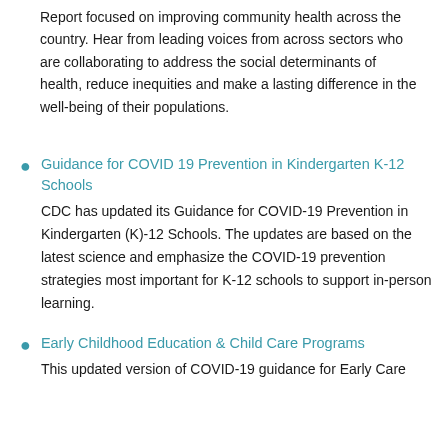Report focused on improving community health across the country. Hear from leading voices from across sectors who are collaborating to address the social determinants of health, reduce inequities and make a lasting difference in the well-being of their populations.
Guidance for COVID 19 Prevention in Kindergarten K-12 Schools
CDC has updated its Guidance for COVID-19 Prevention in Kindergarten (K)-12 Schools. The updates are based on the latest science and emphasize the COVID-19 prevention strategies most important for K-12 schools to support in-person learning.
Early Childhood Education & Child Care Programs
This updated version of COVID-19 guidance for Early Care